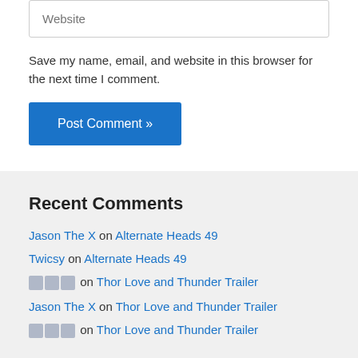Website
Save my name, email, and website in this browser for the next time I comment.
Post Comment »
Recent Comments
Jason The X on Alternate Heads 49
Twicsy on Alternate Heads 49
[emoji] on Thor Love and Thunder Trailer
Jason The X on Thor Love and Thunder Trailer
[emoji] on Thor Love and Thunder Trailer